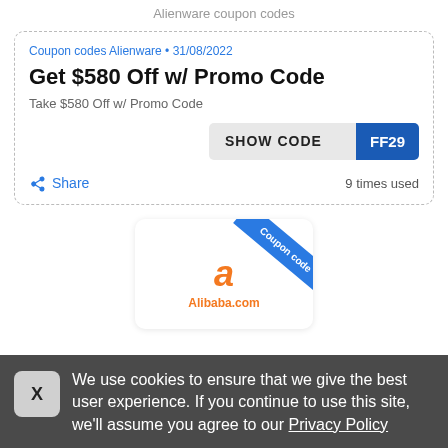Alienware coupon codes
Coupon codes Alienware • 31/08/2022
Get $580 Off w/ Promo Code
Take $580 Off w/ Promo Code
SHOW CODE FF29
Share   9 times used
[Figure (logo): Alibaba.com coupon code logo card with blue diagonal ribbon saying 'Coupon code' and orange Alibaba.com logo]
We use cookies to ensure that we give the best user experience. If you continue to use this site, we'll assume you agree to our Privacy Policy